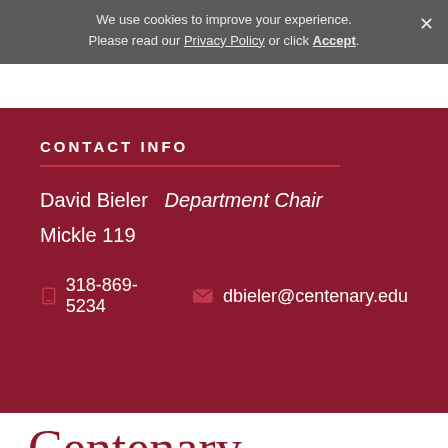We use cookies to improve your experience. Please read our Privacy Policy or click Accept.
CONTACT INFO
David Bieler  Department Chair
Mickle 119
318-869-5234   dbieler@centenary.edu
[Figure (logo): Centenary College of Louisiana logo in dark red serif font]